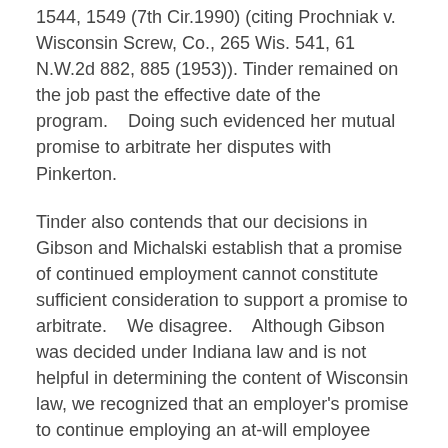1544, 1549 (7th Cir.1990) (citing Prochniak v. Wisconsin Screw, Co., 265 Wis. 541, 61 N.W.2d 882, 885 (1953)). Tinder remained on the job past the effective date of the program.    Doing such evidenced her mutual promise to arbitrate her disputes with Pinkerton.
Tinder also contends that our decisions in Gibson and Michalski establish that a promise of continued employment cannot constitute sufficient consideration to support a promise to arbitrate.    We disagree.    Although Gibson was decided under Indiana law and is not helpful in determining the content of Wisconsin law, we recognized that an employer's promise to continue employing an at-will employee could constitute consideration for an employee's promise to forego certain rights.    See 121 F.3d at 1131-32.    Additionally, Gibson is distinguishable from this case because the employer never promised to continue employing the plaintiff in exchange for her waiving her right to sue.    Id